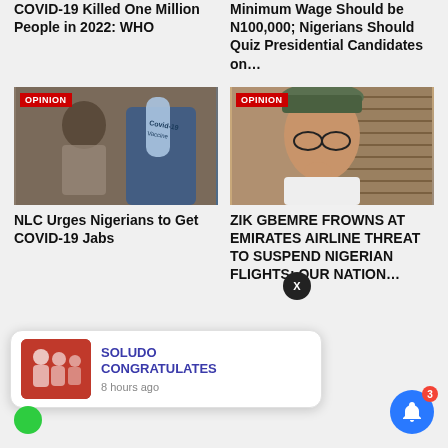COVID-19 Killed One Million People in 2022: WHO
Minimum Wage Should be N100,000; Nigerians Should Quiz Presidential Candidates on…
[Figure (photo): Man holding COVID-19 vaccine vial, OPINION badge overlay]
NLC Urges Nigerians to Get COVID-19 Jabs
[Figure (photo): Nigerian leader in traditional hat and glasses, OPINION badge overlay]
ZIK GBEMRE FROWNS AT EMIRATES AIRLINE THREAT TO SUSPEND NIGERIAN FLIGHTS: OUR NATION…
SOLUDO CONGRATULATES
8 hours ago